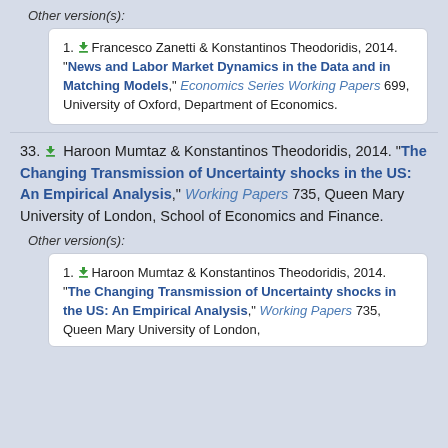Other version(s):
1. Francesco Zanetti & Konstantinos Theodoridis, 2014. "News and Labor Market Dynamics in the Data and in Matching Models," Economics Series Working Papers 699, University of Oxford, Department of Economics.
33. Haroon Mumtaz & Konstantinos Theodoridis, 2014. "The Changing Transmission of Uncertainty shocks in the US: An Empirical Analysis," Working Papers 735, Queen Mary University of London, School of Economics and Finance.
Other version(s):
1. Haroon Mumtaz & Konstantinos Theodoridis, 2014. "The Changing Transmission of Uncertainty shocks in the US: An Empirical Analysis," Working Papers 735, Queen Mary University of London,